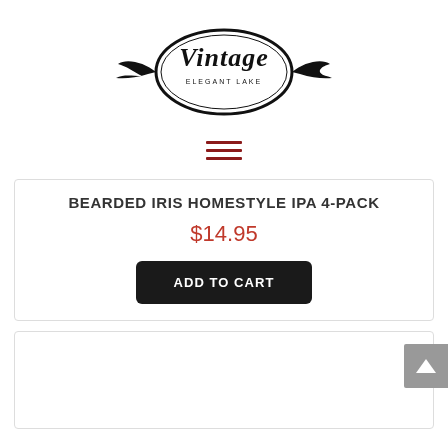[Figure (logo): Vintage Elegant Lake logo — oval with wings and script text]
[Figure (other): Hamburger menu icon — three red horizontal lines]
BEARDED IRIS HOMESTYLE IPA 4-PACK
$14.95
ADD TO CART